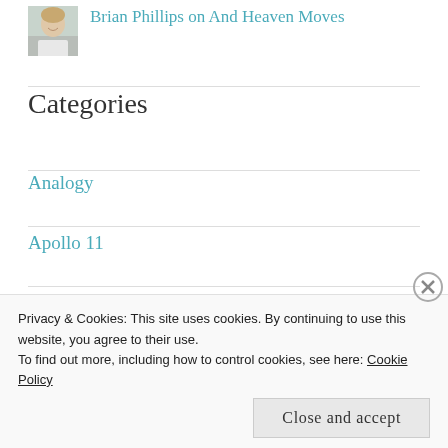Brian Phillips on And Heaven Moves
Categories
Analogy
Apollo 11
Astronauts
Privacy & Cookies: This site uses cookies. By continuing to use this website, you agree to their use.
To find out more, including how to control cookies, see here: Cookie Policy
Close and accept